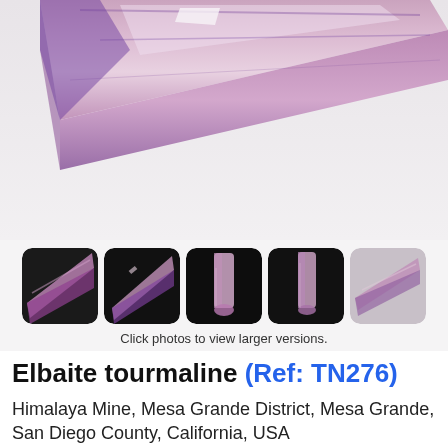[Figure (photo): Close-up photo of an elbaite tourmaline crystal with pink/purple coloring on white/light gray background, showing elongated crystal form diagonally]
[Figure (photo): Row of five thumbnail photos of the elbaite tourmaline crystal from different angles, on dark backgrounds, last thumbnail on light background]
Click photos to view larger versions.
Elbaite tourmaline (Ref: TN276)
Himalaya Mine, Mesa Grande District, Mesa Grande, San Diego County, California, USA
36mm x 8mm x 7mm